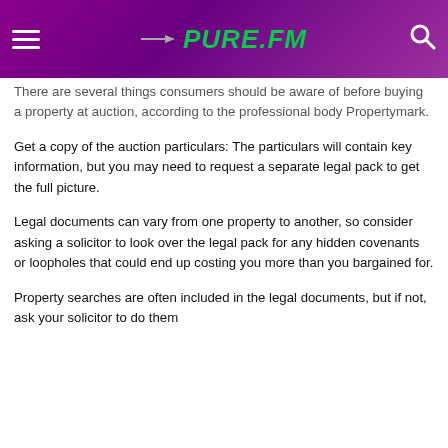PURE.FM
There are several things consumers should be aware of before buying a property at auction, according to the professional body Propertymark.
Get a copy of the auction particulars: The particulars will contain key information, but you may need to request a separate legal pack to get the full picture.
Legal documents can vary from one property to another, so consider asking a solicitor to look over the legal pack for any hidden covenants or loopholes that could end up costing you more than you bargained for.
Property searches are often included in the legal documents, but if not, ask your solicitor to do them